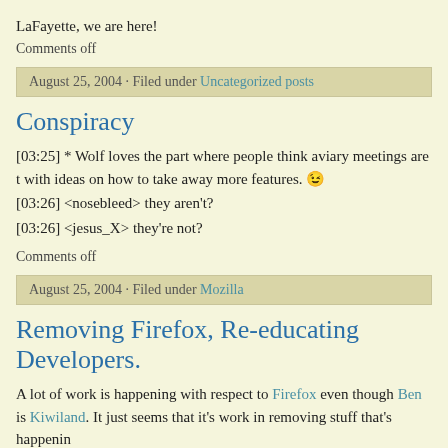LaFayette, we are here!
Comments off
August 25, 2004 · Filed under Uncategorized posts
Conspiracy
[03:25] * Wolf loves the part where people think aviary meetings are t with ideas on how to take away more features. 😉
[03:26] <nosebleed> they aren't?
[03:26] <jesus_X> they're not?
Comments off
August 25, 2004 · Filed under Mozilla
Removing Firefox, Re-educating Developers.
A lot of work is happening with respect to Firefox even though Ben is Kiwiland. It just seems that it's work in removing stuff that's happenin coming to light the various features that are being hidden due to not